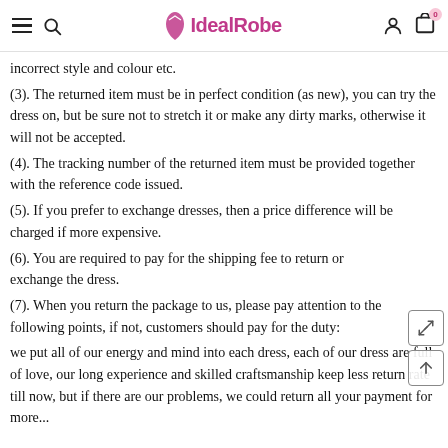IdealRobe
incorrect style and colour etc.
(3). The returned item must be in perfect condition (as new), you can try the dress on, but be sure not to stretch it or make any dirty marks, otherwise it will not be accepted.
(4). The tracking number of the returned item must be provided together with the reference code issued.
(5). If you prefer to exchange dresses, then a price difference will be charged if more expensive.
(6). You are required to pay for the shipping fee to return or exchange the dress.
(7). When you return the package to us, please pay attention to the following points, if not, customers should pay for the duty:
we put all of our energy and mind into each dress, each of our dress are full of love, our long experience and skilled craftsmanship keep less return rate till now, but if there are our problems, we could return all your payment for more...